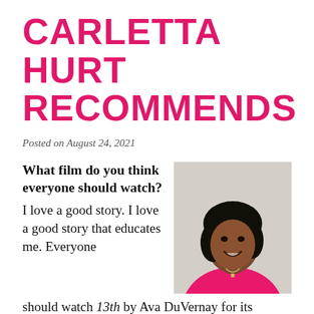CARLETTA HURT RECOMMENDS
Posted on August 24, 2021
What film do you think everyone should watch?
[Figure (photo): Portrait photo of Carletta Hurt, a woman in a bright pink/magenta sleeveless top with short dark hair, smiling, wearing a small necklace.]
I love a good story. I love a good story that educates me. Everyone should watch 13th by Ava DuVernay for its historical foundation and how Ava does a remarkable job painting a different...